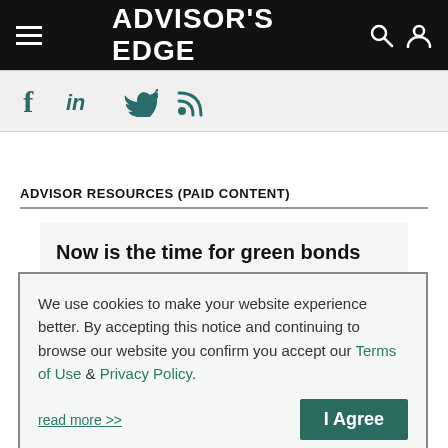ADVISOR'S EDGE
[Figure (screenshot): Social media icons: Facebook (f), LinkedIn (in), Twitter bird, RSS feed symbol, in teal/dark green color on light grey background]
ADVISOR RESOURCES (PAID CONTENT)
Now is the time for green bonds
These instruments preserve capital, offer stable income
We use cookies to make your website experience better. By accepting this notice and continuing to browse our website you confirm you accept our Terms of Use & Privacy Policy.
read more >>
I Agree
New clean infrastructure fund aims for growth